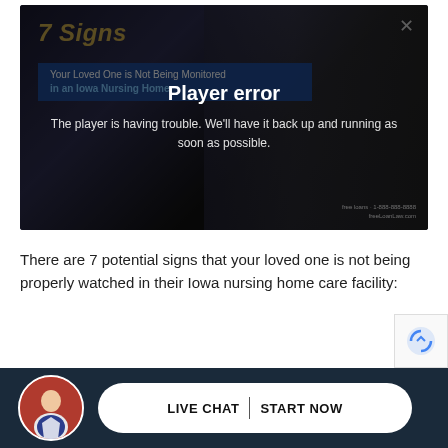[Figure (screenshot): Video player showing a dark hallway image with '7 Signs' text in gold italic, a blue banner reading 'Your Loved One is Not Being Monitored in an Iowa Nursing Home', a close X button, and a player error overlay with message 'Player error / The player is having trouble. We'll have it back up and running as soon as possible.']
There are 7 potential signs that your loved one is not being properly watched in their Iowa nursing home care facility:
[Figure (infographic): Bottom navigation bar with attorney avatar photo, and a 'LIVE CHAT | START NOW' button on dark navy background]